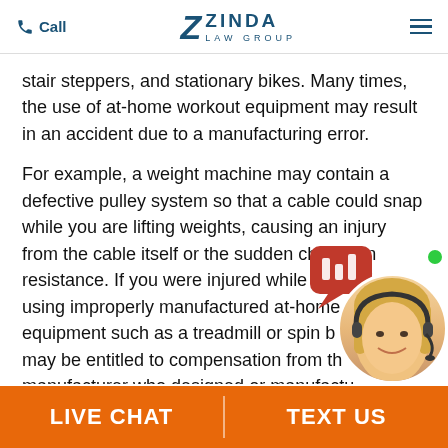Call | ZINDA LAW GROUP
stair steppers, and stationary bikes. Many times, the use of at-home workout equipment may result in an accident due to a manufacturing error.
For example, a weight machine may contain a defective pulley system so that a cable could snap while you are lifting weights, causing an injury from the cable itself or the sudden change in resistance. If you were injured while exercising using improperly manufactured at-home workout equipment such as a treadmill or spin b... may be entitled to compensation from th... manufacturer who designed or manufactu...
[Figure (illustration): Live chat widget with speech bubble icon and blonde female customer service agent avatar with green online indicator dot]
LIVE CHAT | TEXT US